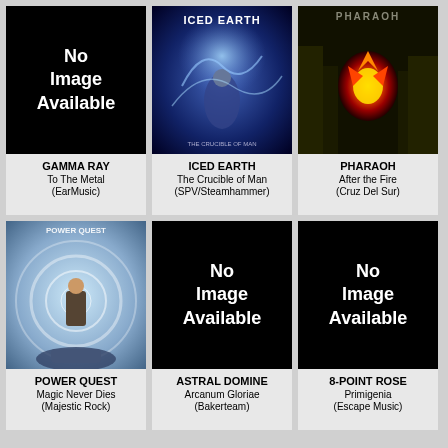[Figure (other): No Image Available placeholder for Gamma Ray - To The Metal]
GAMMA RAY
To The Metal
(EarMusic)
[Figure (photo): Iced Earth album cover - The Crucible of Man, sci-fi/fantasy warrior artwork]
ICED EARTH
The Crucible of Man
(SPV/Steamhammer)
[Figure (photo): Pharaoh album cover - After the Fire, dark fiery artwork]
PHARAOH
After the Fire
(Cruz Del Sur)
[Figure (photo): Power Quest album cover - Magic Never Dies, fantasy artwork]
POWER QUEST
Magic Never Dies
(Majestic Rock)
[Figure (other): No Image Available placeholder for Astral Domine - Arcanum Gloriae]
ASTRAL DOMINE
Arcanum Gloriae
(Bakerteam)
[Figure (other): No Image Available placeholder for 8-Point Rose - Primigenia]
8-POINT ROSE
Primigenia
(Escape Music)